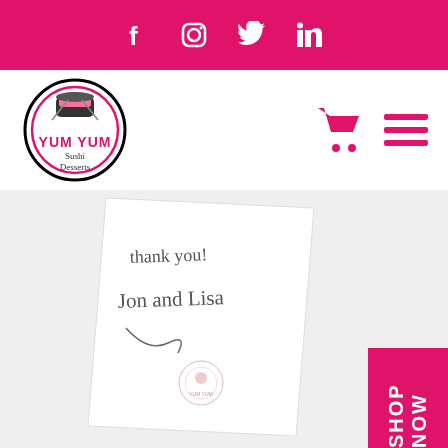Social media icons: Facebook, Instagram, Twitter, LinkedIn
[Figure (logo): Yum Yum Sushi Desserts circular logo with pink text and sushi illustration]
[Figure (illustration): Shopping cart icon and hamburger menu icon in pink]
[Figure (photo): White thank-you card with handwritten text: 'thank you! Jon and Lisa' with a small circular Yum Yum stamp]
SHOP NOW